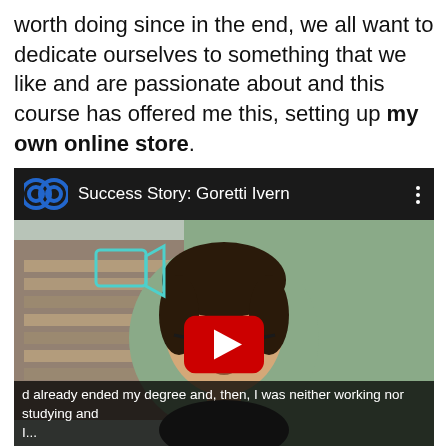worth doing since in the end, we all want to dedicate ourselves to something that we like and are passionate about and this course has offered me this, setting up my own online store.
[Figure (screenshot): Embedded YouTube video player screenshot titled 'Success Story: Goretti Ivern' showing a young woman in glasses with dark hair against a green background. A red play button is visible in the center. Subtitle text reads: 'd already ended my degree and, then, I was neither working nor studying and I...']